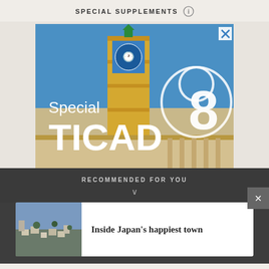SPECIAL SUPPLEMENTS
[Figure (photo): Advertisement image showing a mosque/minaret in Tunisia with text overlay reading 'Special TICAD 8' with a large numeral 8 in a circle on the right side]
RECOMMENDED FOR YOU
[Figure (photo): Thumbnail photo of a hillside town, likely in Japan]
Inside Japan's happiest town